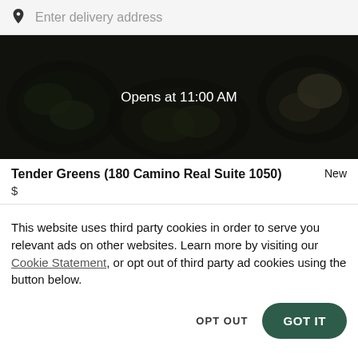Enter delivery address
[Figure (screenshot): Hero banner showing food bowls with a dark overlay and text 'Opens at 11:00 AM']
Tender Greens (180 Camino Real Suite 1050)
New
$
This website uses third party cookies in order to serve you relevant ads on other websites. Learn more by visiting our Cookie Statement, or opt out of third party ad cookies using the button below.
OPT OUT
GOT IT